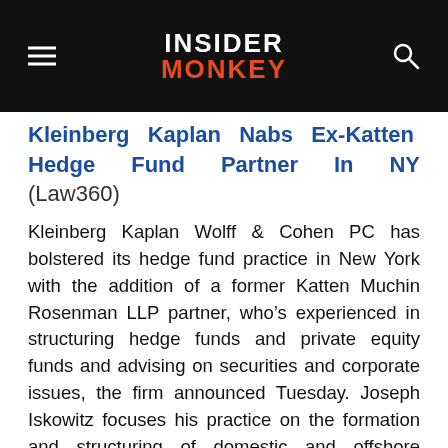INSIDER MONKEY
Kleinberg Kaplan Nabs Ex-Katten Hedge Fund Partner In NY (Law360)
Kleinberg Kaplan Wolff & Cohen PC has bolstered its hedge fund practice in New York with the addition of a former Katten Muchin Rosenman LLP partner, who's experienced in structuring hedge funds and private equity funds and advising on securities and corporate issues, the firm announced Tuesday. Joseph Iskowitz focuses his practice on the formation and structuring of domestic and offshore investment funds, including hedge funds and private equity funds, and advises funds on operational, securities, corporate and